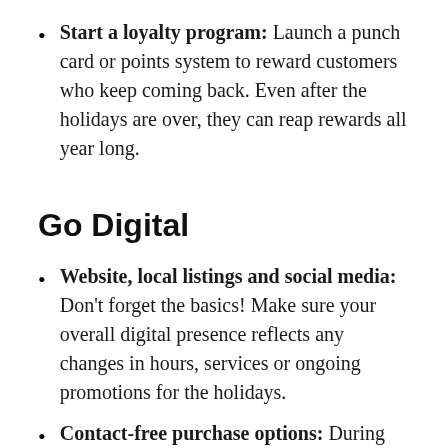Start a loyalty program: Launch a punch card or points system to reward customers who keep coming back. Even after the holidays are over, they can reap rewards all year long.
Go Digital
Website, local listings and social media: Don't forget the basics! Make sure your overall digital presence reflects any changes in hours, services or ongoing promotions for the holidays.
Contact-free purchase options: During COVID-19, many customers are looking for ways to reduce exposure. Consider offering touchless